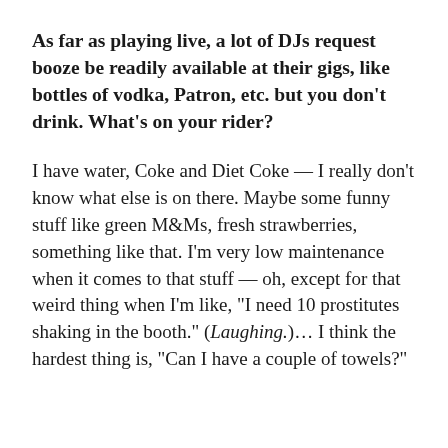As far as playing live, a lot of DJs request booze be readily available at their gigs, like bottles of vodka, Patron, etc. but you don't drink. What's on your rider?
I have water, Coke and Diet Coke — I really don't know what else is on there. Maybe some funny stuff like green M&Ms, fresh strawberries, something like that. I'm very low maintenance when it comes to that stuff – oh, except for that weird thing when I'm like, "I need 10 prostitutes shaking in the booth." (Laughing.)... I think the hardest thing is, "Can I have a couple of towels?"